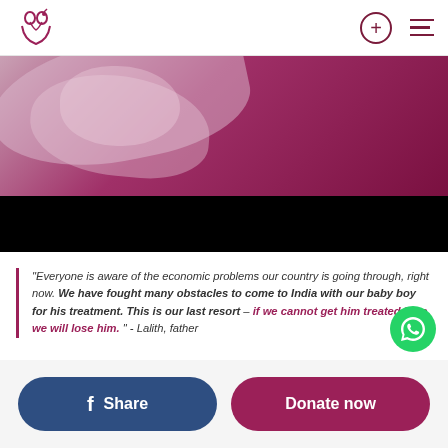Logo, plus icon, hamburger menu
[Figure (photo): Hero image showing a baby/infant wrapped in cloth on a pink-to-maroon background gradient, with a black bar below]
"Everyone is aware of the economic problems our country is going through, right now. We have fought many obstacles to come to India with our baby boy for his treatment. This is our last resort – if we cannot get him treated here, we will lose him." - Lalith, father
Share
Donate now